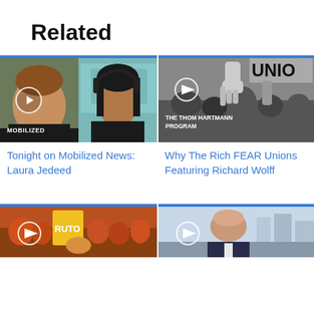Related
[Figure (screenshot): Video thumbnail showing two people on a split screen, one man in black and a woman with headphones. Label says MOBILIZED at bottom left. Play button visible.]
Tonight on Mobilized News: Laura Jedeed
[Figure (screenshot): Black and white photo of a protest with raised fist and UNION sign. Label says THE THOM HARTMANN PROGRAM at bottom left. Play button visible.]
Why The Rich FEAR Unions Featuring Richard Wolff
[Figure (screenshot): Color photo of a crowd with a RUTO sign and a man in yellow. Play button visible.]
[Figure (screenshot): Photo of a bald man in a suit outdoors. Play button visible.]